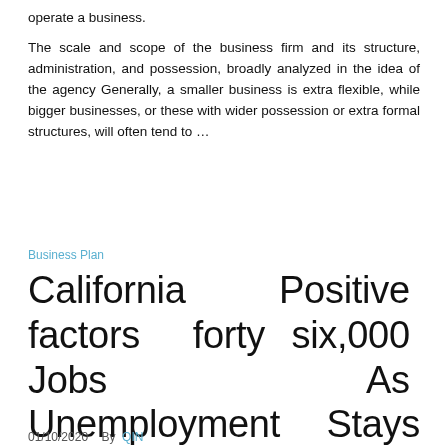operate a business.
The scale and scope of the business firm and its structure, administration, and possession, broadly analyzed in the idea of the agency Generally, a smaller business is extra flexible, while bigger businesses, or these with wider possession or extra formal structures, will often tend to ...
Business Plan
California Positive factors forty six,000 Jobs As Unemployment Stays Close to Record Low
01/10/2020    By  QIN